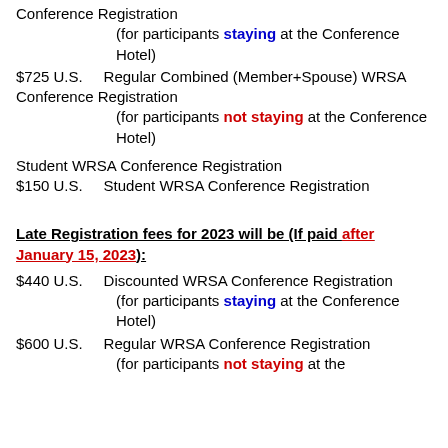Conference Registration
(for participants staying at the Conference Hotel)
$725 U.S.    Regular Combined (Member+Spouse) WRSA Conference Registration
(for participants not staying at the Conference Hotel)
Student WRSA Conference Registration
$150 U.S.    Student WRSA Conference Registration
Late Registration fees for 2023 will be (If paid after January 15, 2023):
$440 U.S.    Discounted WRSA Conference Registration
(for participants staying at the Conference Hotel)
$600 U.S.    Regular WRSA Conference Registration
(for participants not staying at the